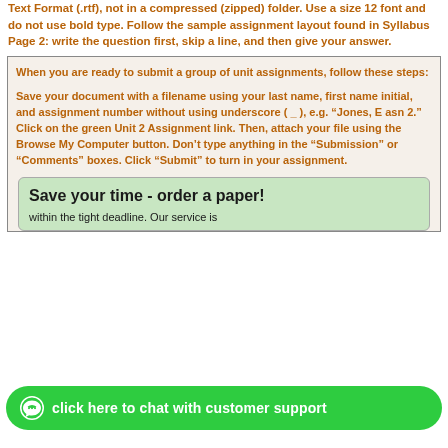Text Format (.rtf), not in a compressed (zipped) folder. Use a size 12 font and do not use bold type. Follow the sample assignment layout found in Syllabus Page 2: write the question first, skip a line, and then give your answer.
When you are ready to submit a group of unit assignments, follow these steps:
Save your document with a filename using your last name, first name initial, and assignment number without using underscore ( _ ), e.g. “Jones, E asn 2.” Click on the green Unit 2 Assignment link. Then, attach your file using the Browse My Computer button. Don’t type anything in the “Submission” or “Comments” boxes. Click “Submit” to turn in your assignment.
Save your time - order a paper!
within the tight deadline. Our service is
click here to chat with customer support